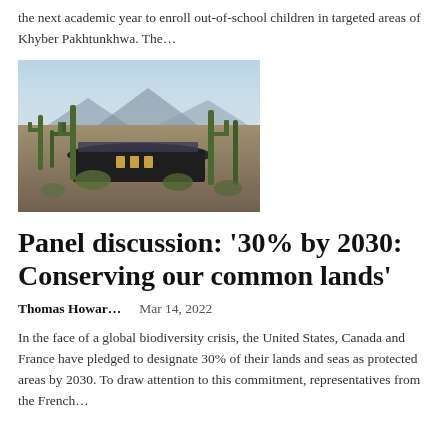the next academic year to enroll out-of-school children in targeted areas of Khyber Pakhtunkhwa. The…
[Figure (photo): Exterior photo of a building surrounded by tall saguaro cacti in a desert landscape, with mountains visible in the background under a hazy sky.]
Panel discussion: ‘30% by 2030: Conserving our common lands’
Thomas Howar…   Mar 14, 2022
In the face of a global biodiversity crisis, the United States, Canada and France have pledged to designate 30% of their lands and seas as protected areas by 2030. To draw attention to this commitment, representatives from the French…